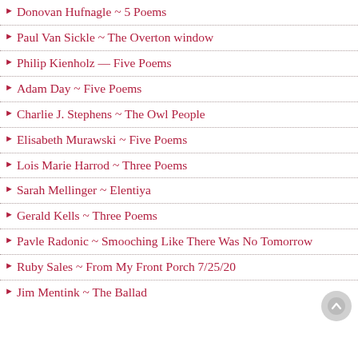Donovan Hufnagle ~ 5 Poems
Paul Van Sickle ~ The Overton window
Philip Kienholz — Five Poems
Adam Day ~ Five Poems
Charlie J. Stephens ~ The Owl People
Elisabeth Murawski ~ Five Poems
Lois Marie Harrod ~ Three Poems
Sarah Mellinger ~ Elentiya
Gerald Kells ~ Three Poems
Pavle Radonic ~ Smooching Like There Was No Tomorrow
Ruby Sales ~ From My Front Porch 7/25/20
Jim Mentink ~ The Ballad